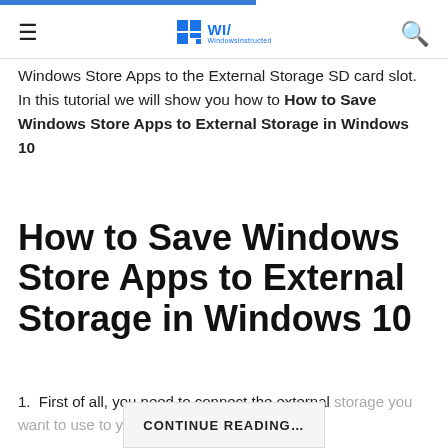WI/ WindowsInstructed
Windows Store Apps to the External Storage SD card slot. In this tutorial we will show you how to How to Save Windows Store Apps to External Storage in Windows 10
How to Save Windows Store Apps to External Storage in Windows 10
1.  First of all, you need to connect the external storage you want to use to your computer